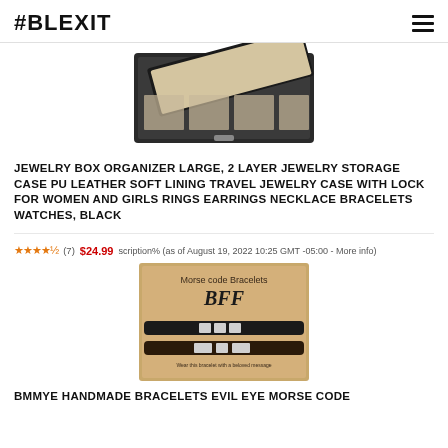#BLEXIT
[Figure (photo): A black jewelry box organizer open showing compartments with jewelry items inside]
JEWELRY BOX ORGANIZER LARGE, 2 LAYER JEWELRY STORAGE CASE PU LEATHER SOFT LINING TRAVEL JEWELRY CASE WITH LOCK FOR WOMEN AND GIRLS RINGS EARRINGS NECKLACE BRACELETS WATCHES, BLACK
4.5 stars (7) $24.99 scription% (as of August 19, 2022 10:25 GMT -05:00 - More info)
[Figure (photo): Kraft paper card with Morse code bracelets labeled BFF with two black cord bracelets]
BMMYE HANDMADE BRACELETS EVIL EYE MORSE CODE